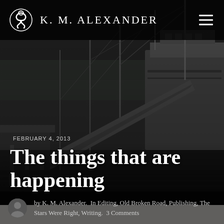K. M. Alexander
[Figure (photo): Dark grayscale background photo of a boat or steamship docked at a pier/wharf, shot from ground level showing the side of the vessel with masts, rigging, and dock structures.]
FEBRUARY 4, 2013
The things that are happening
by K. M. Alexander.  In Editing, Old Broken Road, Publishing, The Stars Were Right, Writing.  3 Comments